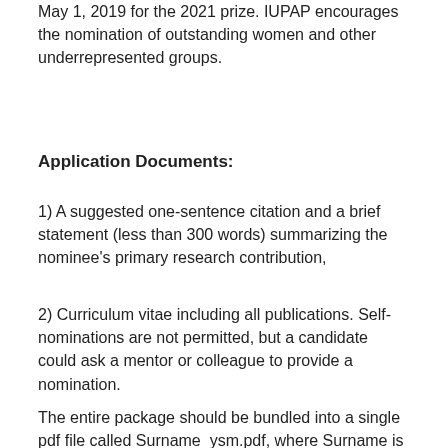May 1, 2019 for the 2021 prize. IUPAP encourages the nomination of outstanding women and other underrepresented groups.
Application Documents:
1) A suggested one-sentence citation and a brief statement (less than 300 words) summarizing the nominee's primary research contribution,
2) Curriculum vitae including all publications. Self-nominations are not permitted, but a candidate could ask a mentor or colleague to provide a nomination.
The entire package should be bundled into a single pdf file called Surname_ysm.pdf, where Surname is the candidate's name. The file must not exceed 2MB in size. Nominations should be send to the chair of the award committee, Jeff Gore gore@mit.edu, Vice-Chair of C6, by e-mail together with cc's to Ramin Golestanian ramin.golestanian@ds.mpg.de, Chair of C6.